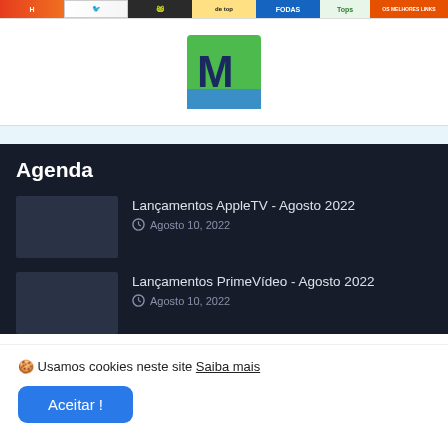[Figure (screenshot): Row of colorful website/blog banner thumbnails at top of page]
[Figure (logo): Mastodon-style green and blue 'M' logo on white background]
Agenda
Lançamentos AppleTV - Agosto 2022
Agosto 10, 2022
Lançamentos PrimeVídeo - Agosto 2022
Agosto 10, 2022
🍪 Usamos cookies neste site Saiba mais
Aceitar !